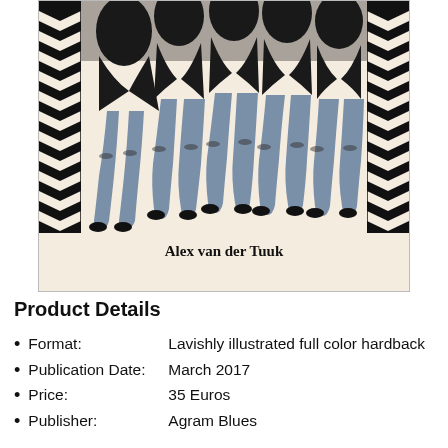[Figure (illustration): Art deco style black and white illustration with blue-tinted coloring showing a row of chorus line dancers' legs in stockings and heels, with decorative geometric border patterns on the sides. Set against a cream/beige background.]
Alex van der Tuuk
Product Details
Format:    Lavishly illustrated full color hardback
Publication Date:    March 2017
Price:    35 Euros
Publisher:    Agram Blues